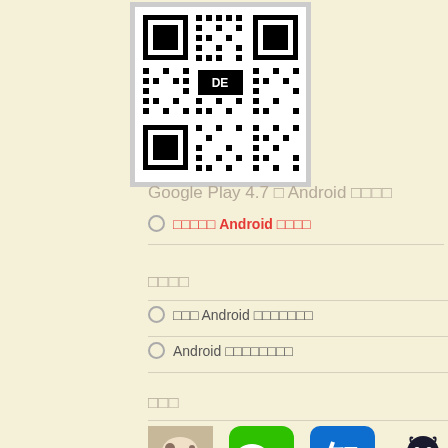[Figure (other): QR code image with 'DE' text in center]
Google Play 4.7 □ Android □□□□
□□□□□ Android □□□□
□□□□
□□□ Android □□□□□□□
Android □□□□□□□□
□□□
[Figure (photo): Row of four icons: baby/cat photo, WeChat green icon, Zhihu blue icon, GitHub octocat mascot]
□□□□□